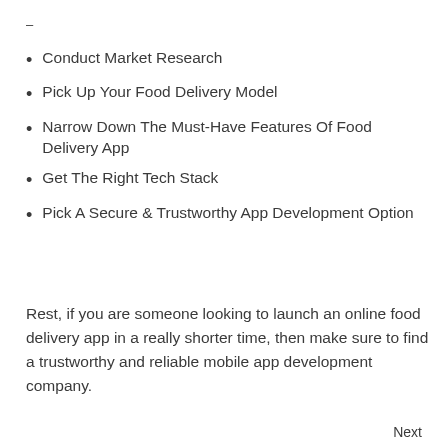–
Conduct Market Research
Pick Up Your Food Delivery Model
Narrow Down The Must-Have Features Of Food Delivery App
Get The Right Tech Stack
Pick A Secure & Trustworthy App Development Option
Rest, if you are someone looking to launch an online food delivery app in a really shorter time, then make sure to find a trustworthy and reliable mobile app development company.
Next